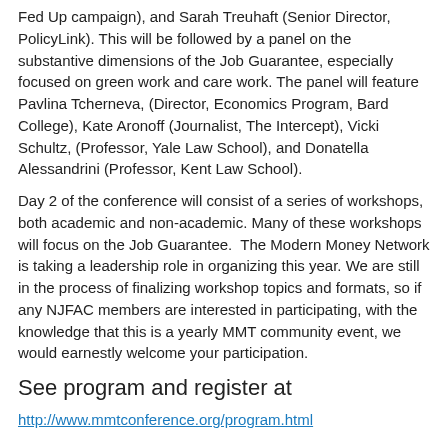Fed Up campaign), and Sarah Treuhaft (Senior Director, PolicyLink). This will be followed by a panel on the substantive dimensions of the Job Guarantee, especially focused on green work and care work. The panel will feature Pavlina Tcherneva, (Director, Economics Program, Bard College), Kate Aronoff (Journalist, The Intercept), Vicki Schultz, (Professor, Yale Law School), and Donatella Alessandrini (Professor, Kent Law School).
Day 2 of the conference will consist of a series of workshops, both academic and non-academic. Many of these workshops will focus on the Job Guarantee.  The Modern Money Network is taking a leadership role in organizing this year. We are still in the process of finalizing workshop topics and formats, so if any NJFAC members are interested in participating, with the knowledge that this is a yearly MMT community event, we would earnestly welcome your participation.
See program and register at
http://www.mmtconference.org/program.html
--
June Zaccone
National Jobs for All Coalition
http://www.njfac.org